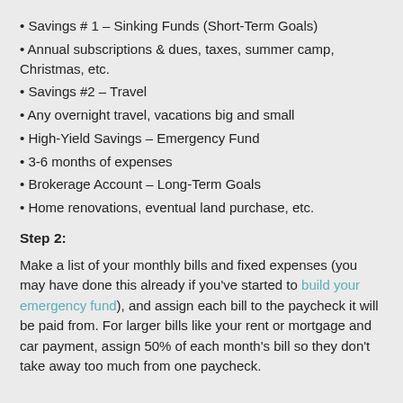Savings # 1 – Sinking Funds (Short-Term Goals)
Annual subscriptions & dues, taxes, summer camp, Christmas, etc.
Savings #2 – Travel
Any overnight travel, vacations big and small
High-Yield Savings – Emergency Fund
3-6 months of expenses
Brokerage Account – Long-Term Goals
Home renovations, eventual land purchase, etc.
Step 2:
Make a list of your monthly bills and fixed expenses (you may have done this already if you've started to build your emergency fund), and assign each bill to the paycheck it will be paid from. For larger bills like your rent or mortgage and car payment, assign 50% of each month's bill so they don't take away too much from one paycheck.